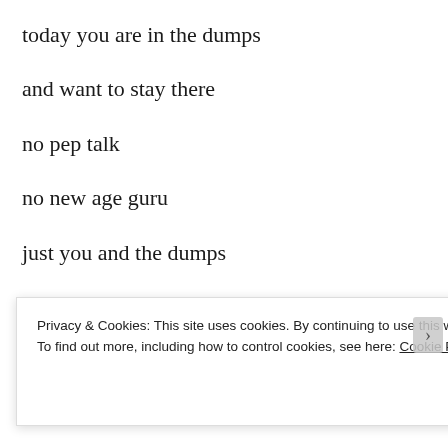today you are in the dumps
and want to stay there
no pep talk
no new age guru
just you and the dumps
feeling like these stones
chipped and
[Figure (photo): Partial view of stones and greenery, partially obscured by cookie consent banner]
Privacy & Cookies: This site uses cookies. By continuing to use this website, you agree to their use.
To find out more, including how to control cookies, see here: Cookie Policy
Close and accept